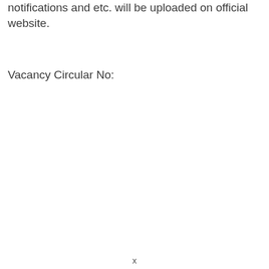notifications and etc. will be uploaded on official website.
Vacancy Circular No:
x